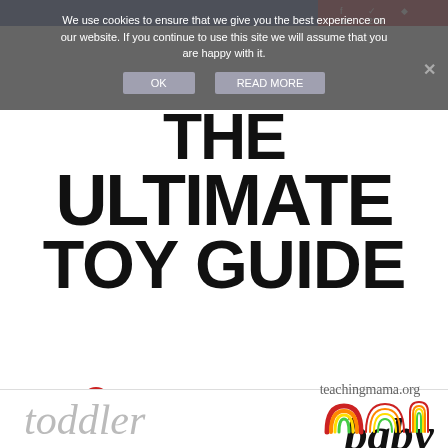We use cookies to ensure that we give you the best experience on our website. If you continue to use this site we will assume that you are happy with it.
OK   READ MORE
THE ULTIMATE TOY GUIDE
teachingmama.org
baby
[Figure (illustration): Rainbow stacking toy, personalized photo book, piggy bank, bead maze musical toy, wooden rainbow stacker toys for baby and toddler]
toddler